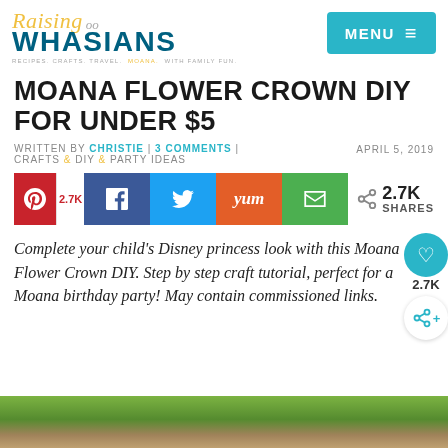Raising Whasians — RECIPES. CRAFTS. TRAVEL. MOANA. WITH FAMILY FUN. | MENU
MOANA FLOWER CROWN DIY FOR UNDER $5
WRITTEN BY CHRISTIE | 3 COMMENTS | CRAFTS & DIY & PARTY IDEAS    APRIL 5, 2019
[Figure (infographic): Social share buttons: Pinterest (2.7K), Facebook, Twitter, Yummly, Email. Total 2.7K SHARES.]
Complete your child's Disney princess look with this Moana Flower Crown DIY. Step by step craft tutorial, perfect for a Moana birthday party! May contain commissioned links.
[Figure (photo): Bottom strip of photo showing green cups and pink flowers on a wooden surface.]